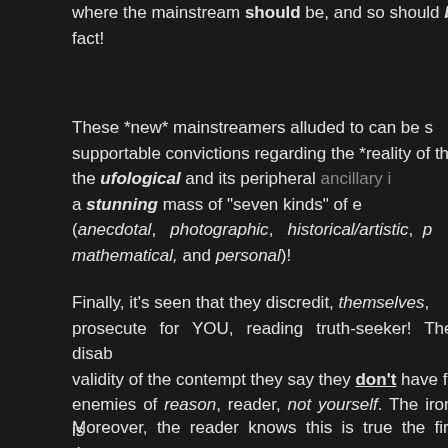where the mainstream should be, and so should b... fact!
These *new* mainstreamers alluded to can be s... supportable convictions regarding the *reality of thi... the ufological and its peripheral ancillary i... a stunning mass of "seven kinds" of e... (anecdotal, photographic, historical/artistic, p... mathematical, and personal)!
Finally, it's seen that they discredit, themselves, ... prosecute for YOU, reading truth-seeker! They disab... validity of the contempt they say they don't have f... enemies of reason, reader, not yourself. The irony is
Moreover, the reader knows this is true the first time